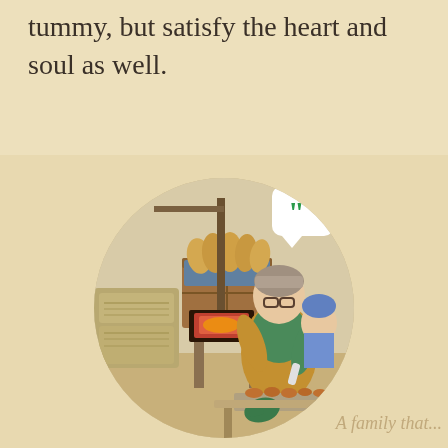tummy, but satisfy the heart and soul as well.
[Figure (illustration): A circular illustration of a baker woman decorating cookies on a tray in a bakery kitchen, with bread loaves in a wooden crate behind her and a brick oven. A white speech bubble with green quotation marks appears in the upper right of the circle.]
A family that...